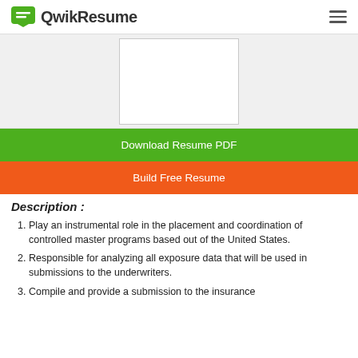QwikResume
[Figure (other): Resume preview placeholder box (white rectangle with border on light gray background)]
Download Resume PDF
Build Free Resume
Description :
Play an instrumental role in the placement and coordination of controlled master programs based out of the United States.
Responsible for analyzing all exposure data that will be used in submissions to the underwriters.
Compile and provide a submission to the insurance